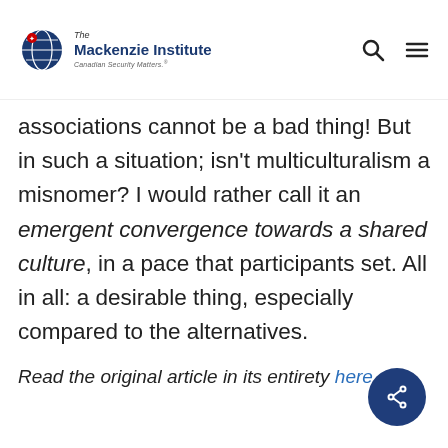The Mackenzie Institute – Canadian Security Matters.
associations cannot be a bad thing! But in such a situation; isn't multiculturalism a misnomer? I would rather call it an emergent convergence towards a shared culture, in a pace that participants set. All in all: a desirable thing, especially compared to the alternatives.
Read the original article in its entirety here.